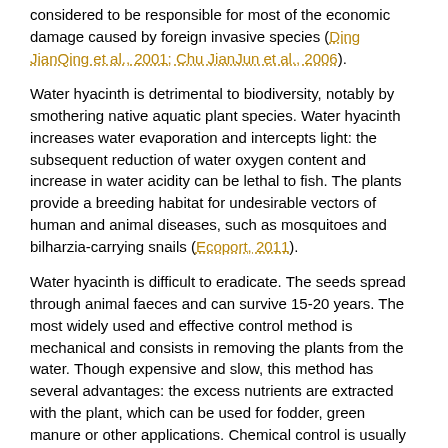considered to be responsible for most of the economic damage caused by foreign invasive species (Ding JianQing et al., 2001; Chu JianJun et al., 2006).
Water hyacinth is detrimental to biodiversity, notably by smothering native aquatic plant species. Water hyacinth increases water evaporation and intercepts light: the subsequent reduction of water oxygen content and increase in water acidity can be lethal to fish. The plants provide a breeding habitat for undesirable vectors of human and animal diseases, such as mosquitoes and bilharzia-carrying snails (Ecoport, 2011).
Water hyacinth is difficult to eradicate. The seeds spread through animal faeces and can survive 15-20 years. The most widely used and effective control method is mechanical and consists in removing the plants from the water. Though expensive and slow, this method has several advantages: the excess nutrients are extracted with the plant, which can be used for fodder, green manure or other applications. Chemical control is usually done with the herbicides 2,4-D, glyphosate or Paraquat, which may cause environmental concerns and may not ensure long-term sustainability. The dead plants may also contaminate water when they decay (Chu JianJun et al., 2006). Biological control can be achieved with fungi or insects (Neochetina eichhorniae and Neochetina bruchi) but only in association with other control methods (Pieterse, 1997).
Phytoremediation
Water hyacinth can be useful for the remediation of water contaminated with heavy metals, as the roots trap and remove from